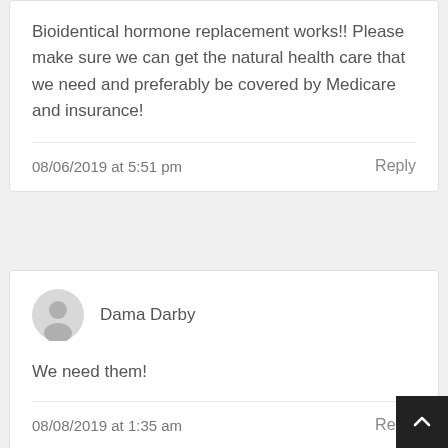Bioidentical hormone replacement works!! Please make sure we can get the natural health care that we need and preferably be covered by Medicare and insurance!
08/06/2019 at 5:51 pm
Reply
Dama Darby
We need them!
08/08/2019 at 1:35 am
Reply